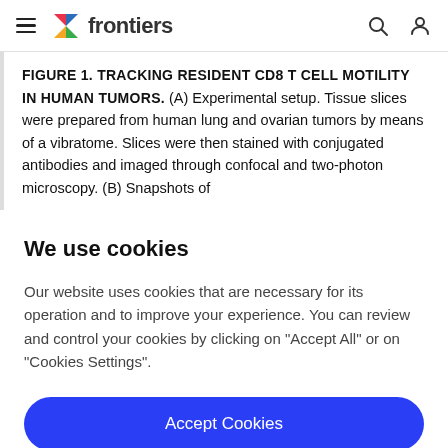frontiers (navigation bar with hamburger menu, search, and profile icons)
FIGURE 1. TRACKING RESIDENT CD8 T CELL MOTILITY IN HUMAN TUMORS. (A) Experimental setup. Tissue slices were prepared from human lung and ovarian tumors by means of a vibratome. Slices were then stained with conjugated antibodies and imaged through confocal and two-photon microscopy. (B) Snapshots of
We use cookies
Our website uses cookies that are necessary for its operation and to improve your experience. You can review and control your cookies by clicking on "Accept All" or on "Cookies Settings".
Accept Cookies
Cookies Settings